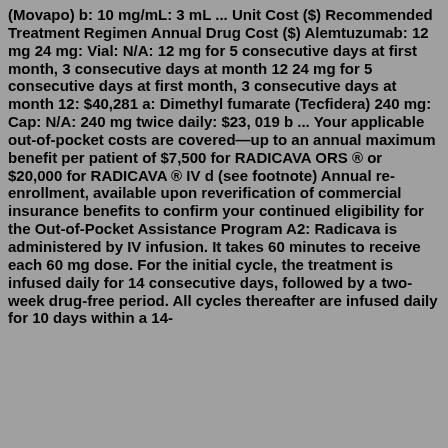(Movapo) b: 10 mg/mL: 3 mL ... Unit Cost ($) Recommended Treatment Regimen Annual Drug Cost ($) Alemtuzumab: 12 mg 24 mg: Vial: N/A: 12 mg for 5 consecutive days at first month, 3 consecutive days at month 12 24 mg for 5 consecutive days at first month, 3 consecutive days at month 12: $40,281 a: Dimethyl fumarate (Tecfidera) 240 mg: Cap: N/A: 240 mg twice daily: $23, 019 b ... Your applicable out-of-pocket costs are covered—up to an annual maximum benefit per patient of $7,500 for RADICAVA ORS ® or $20,000 for RADICAVA ® IV d (see footnote) Annual re-enrollment, available upon reverification of commercial insurance benefits to confirm your continued eligibility for the Out-of-Pocket Assistance Program A2: Radicava is administered by IV infusion. It takes 60 minutes to receive each 60 mg dose. For the initial cycle, the treatment is infused daily for 14 consecutive days, followed by a two-week drug-free period. All cycles thereafter are infused daily for 10 days within a 14-day period, followed by a two-week drug-free period.